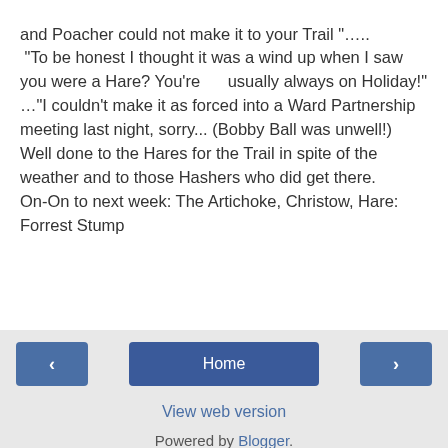and Poacher could not make it to your Trail "…..
 "To be honest I thought it was a wind up when I saw you were a Hare? You're      usually always on Holiday!" …"I couldn't make it as forced into a Ward Partnership meeting last night, sorry... (Bobby Ball was unwell!)
Well done to the Hares for the Trail in spite of the weather and to those Hashers who did get there.
On-On to next week: The Artichoke, Christow, Hare: Forrest Stump
< | Home | > | View web version | Powered by Blogger.